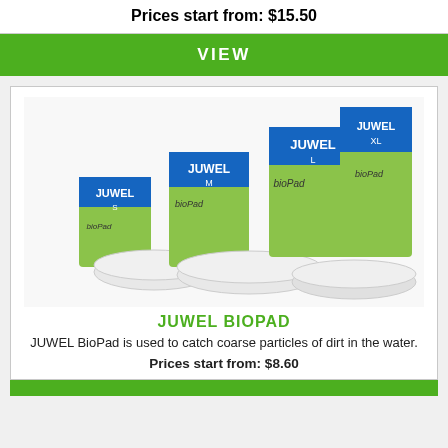Prices start from: $15.50
VIEW
[Figure (photo): Multiple sizes of JUWEL BioPad filter pads in green and blue packaging (sizes S, M, L, XL), along with the white pad inserts displayed in front of their boxes.]
JUWEL BIOPAD
JUWEL BioPad is used to catch coarse particles of dirt in the water.
Prices start from: $8.60